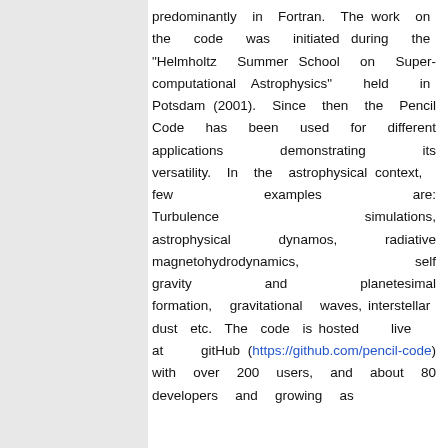predominantly in Fortran. The work on the code was initiated during the "Helmholtz Summer School on Super-computational Astrophysics" held in Potsdam (2001). Since then the Pencil Code has been used for different applications demonstrating its versatility. In the astrophysical context, few examples are: Turbulence simulations, astrophysical dynamos, radiative magnetohydrodynamics, self gravity and planetesimal formation, gravitational waves, interstellar dust etc. The code is hosted live at gitHub (https://github.com/pencil-code) with over 200 users, and about 80 developers and growing as